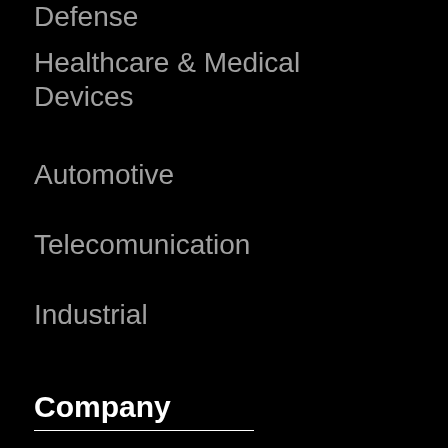Defense
Healthcare & Medical Devices
Automotive
Telecomunication
Industrial
Company
Free Trial
About Us
Contact Us